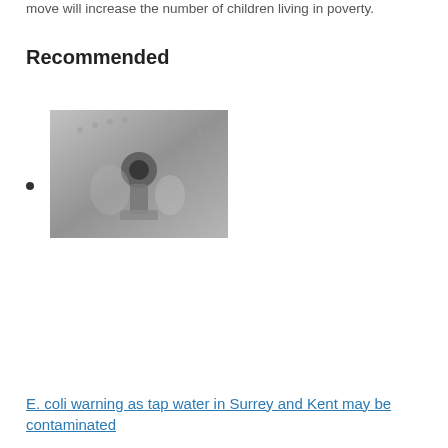move will increase the number of children living in poverty.
Recommended
[thumbnail image of faucet/water tap]
[Figure (photo): Black and white close-up photograph of a water tap or faucet with metallic surfaces]
E. coli warning as tap water in Surrey and Kent may be contaminated